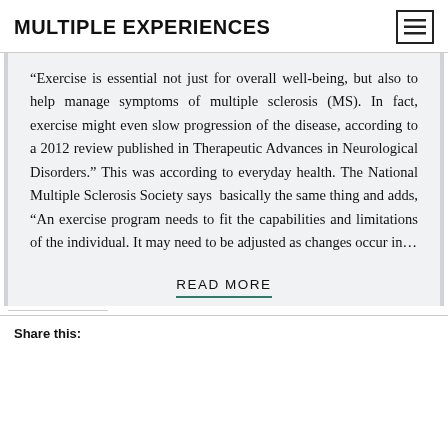MULTIPLE EXPERIENCES
“Exercise is essential not just for overall well-being, but also to help manage symptoms of multiple sclerosis (MS). In fact, exercise might even slow progression of the disease, according to a 2012 review published in Therapeutic Advances in Neurological Disorders.” This was according to everyday health. The National Multiple Sclerosis Society says basically the same thing and adds, “An exercise program needs to fit the capabilities and limitations of the individual. It may need to be adjusted as changes occur in…
READ MORE
Share this: